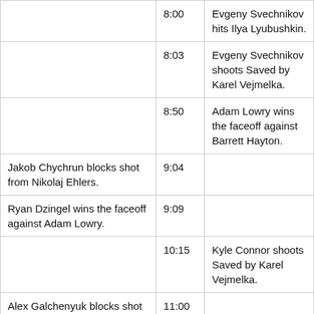| Event (Home) | Time | Event (Away) |
| --- | --- | --- |
|  | 8:00 | Evgeny Svechnikov hits Ilya Lyubushkin. |
|  | 8:03 | Evgeny Svechnikov shoots Saved by Karel Vejmelka. |
|  | 8:50 | Adam Lowry wins the faceoff against Barrett Hayton. |
| Jakob Chychrun blocks shot from Nikolaj Ehlers. | 9:04 |  |
| Ryan Dzingel wins the faceoff against Adam Lowry. | 9:09 |  |
|  | 10:15 | Kyle Connor shoots Saved by Karel Vejmelka. |
| Alex Galchenyuk blocks shot from Kyle Connor. | 11:00 |  |
|  | 11:08 | Nate Schmidt hits Clayton |